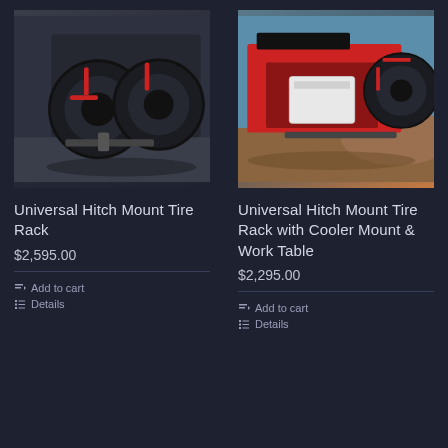[Figure (photo): Rear view of a truck with a universal hitch mount tire rack holding two large off-road tires with red accents, in a garage setting]
Universal Hitch Mount Tire Rack
$2,595.00
Add to cart
Details
[Figure (photo): Rear view of a red truck outdoors with a universal hitch mount tire rack holding a spare tire and a white cooler/work table, desert landscape background]
Universal Hitch Mount Tire Rack with Cooler Mount & Work Table
$2,295.00
Add to cart
Details